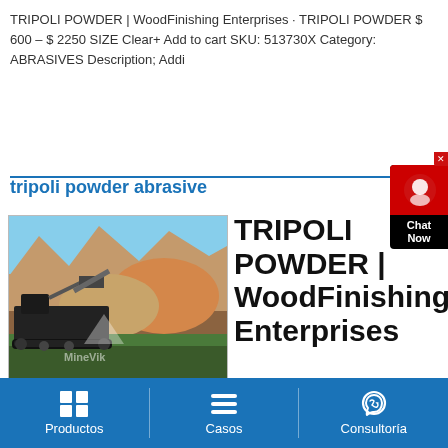TRIPOLI POWDER | WoodFinishing Enterprises · TRIPOLI POWDER $ 600 – $ 2250 SIZE Clear+ Add to cart SKU: 513730X Category: ABRASIVES Description; Addi
tripoli powder abrasive
[Figure (photo): Mining equipment (mobile crusher/screener) in front of large colored mineral mounds; MineVik watermark visible]
TRIPOLI POWDER | WoodFinishing Enterprises
Productos   Casos   Consultoría